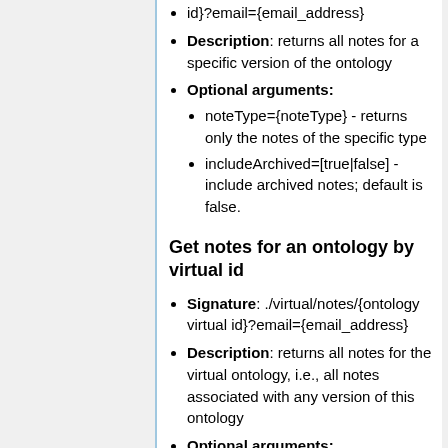id}?email={email_address}
Description: returns all notes for a specific version of the ontology
Optional arguments:
noteType={noteType} - returns only the notes of the specific type
includeArchived=[true|false] - include archived notes; default is false.
Get notes for an ontology by virtual id
Signature: ./virtual/notes/{ontology virtual id}?email={email_address}
Description: returns all notes for the virtual ontology, i.e., all notes associated with any version of this ontology
Optional arguments: